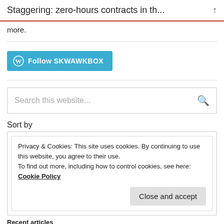Staggering: zero-hours contracts in th...
more.
[Figure (other): Follow SKWAWKBOX button with WordPress icon]
Search this website...
Sort by
Privacy & Cookies: This site uses cookies. By continuing to use this website, you agree to their use.
To find out more, including how to control cookies, see here: Cookie Policy
Close and accept
Recent articles